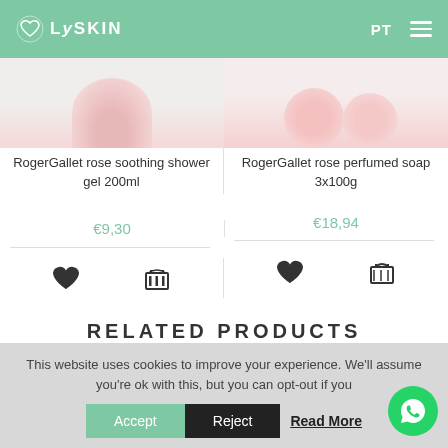LySkin PT
[Figure (photo): Partial view of RogerGallet rose soothing shower gel 200ml product image (pink/rose colored bottle top visible)]
[Figure (photo): Partial view of RogerGallet rose perfumed soap 3x100g product image (pink/rose soap bars visible)]
RogerGallet rose soothing shower gel 200ml
€9,30
RogerGallet rose perfumed soap 3x100g
€18,94
RELATED PRODUCTS
This website uses cookies to improve your experience. We'll assume you're ok with this, but you can opt-out if you
Accept  Reject  Read More